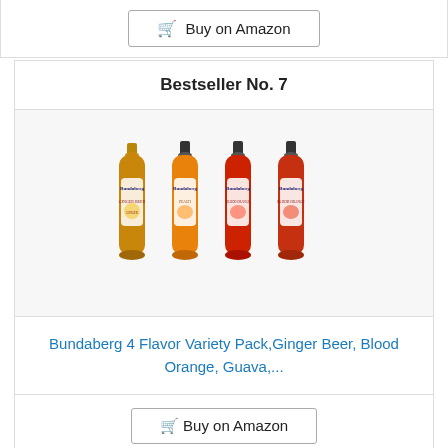Buy on Amazon
Bestseller No. 7
[Figure (photo): Four Bundaberg glass bottles in a row: ginger beer (amber), a peach/mango flavor (orange), a red flavor (blood orange), and a darker red flavor (guava or blood orange), all with Bundaberg labels.]
Bundaberg 4 Flavor Variety Pack,Ginger Beer, Blood Orange, Guava,...
Buy on Amazon